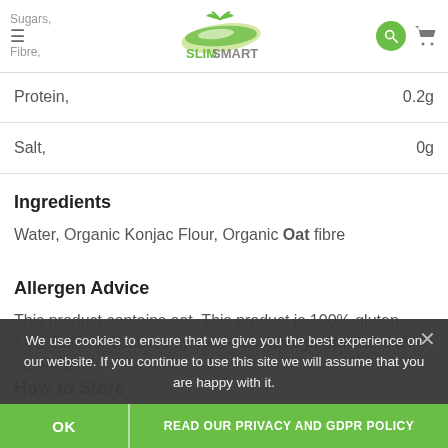Sugars,  Fibre,  SlimSmart logo, search, cart
| Nutrient | Amount |
| --- | --- |
| Protein, | 0.2g |
| Salt, | 0g |
Ingredients
Water, Organic Konjac Flour, Organic Oat fibre
Allergen Advice
This product contains oat. This product is 100% gluten-free. Safe for coeliacs, gluten-sensitive people, and all others w...
How to Store
Store in a po... container with clear water for a maximum of two days
We use cookies to ensure that we give you the best experience on our website. If you continue to use this site we will assume that you are happy with it.